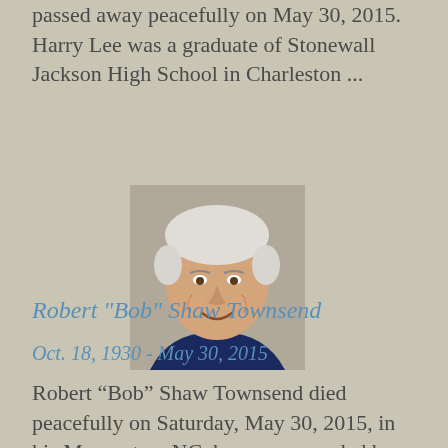passed away peacefully on May 30, 2015. Harry Lee was a graduate of Stonewall Jackson High School in Charleston ...
[Figure (photo): Portrait photo of an elderly smiling man with white hair, wearing a dark blue shirt]
Robert "Bob" Shaw Townsend
Oct. 18, 1930 - May 30, 2015
Robert “Bob” Shaw Townsend died peacefully on Saturday, May 30, 2015, in his Morganton, NC, home surrounded by family. He was 84